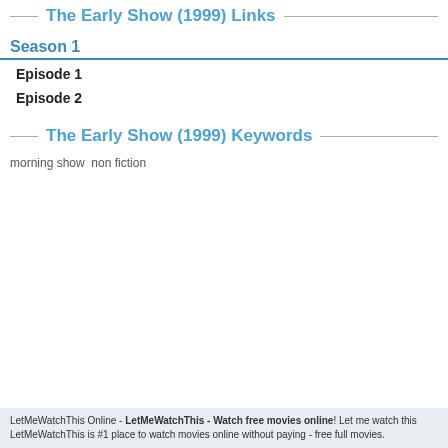The Early Show (1999) Links
Season 1
Episode 1
Episode 2
The Early Show (1999) Keywords
morning show  non fiction
LetMeWatchThis Online - LetMeWatchThis - Watch free movies online! Let me watch this LetMeWatchThis is #1 place to watch movies online without paying - free full movies.